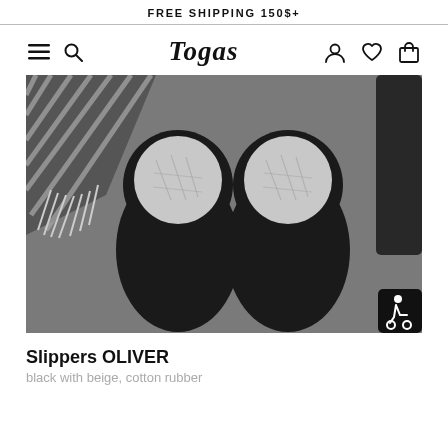FREE SHIPPING 150$+
[Figure (logo): Togas brand logo and navigation bar with hamburger menu, search icon, logo text 'Togas', user icon, heart icon, and bag icon]
[Figure (photo): Black slippers (OLIVER) with beige/grey quilted interior lining viewed from above, on a grey textured surface with a striped fabric visible in the corner. Accessibility icon badge in bottom right corner.]
Slippers OLIVER
black with beige, cotton rubber